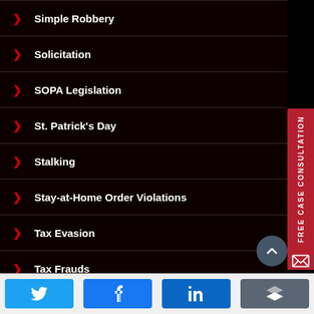Simple Robbery
Solicitation
SOPA Legislation
St. Patrick's Day
Stalking
Stay-at-Home Order Violations
Tax Evasion
Tax Frauds
Teen Drunk Driving